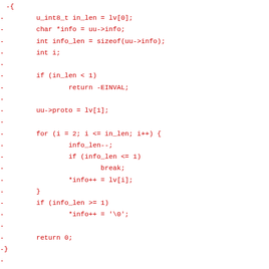-{
-        u_int8_t in_len = lv[0];
-        char *info = uu->info;
-        int info_len = sizeof(uu->info);
-        int i;
-
-        if (in_len < 1)
-                return -EINVAL;
-
-        uu->proto = lv[1];
-
-        for (i = 2; i <= in_len; i++) {
-                info_len--;
-                if (info_len <= 1)
-                        break;
-                *info++ = lv[i];
-        }
-        if (info_len >= 1)
-                *info++ = '\0';
-
-        return 0;
-}
-
-/* encode 'useruser' */
-static int encode_useruser(struct msgb *msg, int l
-                            const struct gsm_mncc_us
-{
-        u_int8_t lv[GSM_MAX_USERUSER + 2];
-
-        if (strlen(uu->info) > GSM_MAX_USERUSER)